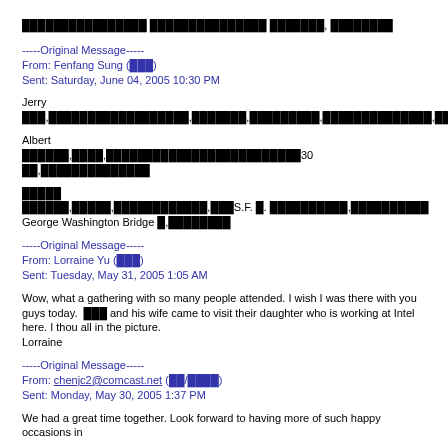█████████████████ ████████████████ ███████, █████████
-----Original Message-----
From: Fenfang Sung (███)
Sent: Saturday, June 04, 2005 10:30 PM
Jerry
███,██████████████████,███████,█████████,██████████████,████████████████
Albert
██████,████,█████████████████████████30 ██,██████████████
█████
██████,█████,████████████,███S.F. █. ██████████,██████████ George Washington Bridge █,████████
-----Original Message-----
From: Lorraine Yu (███)
Sent: Tuesday, May 31, 2005 1:05 AM
Wow, what a gathering with so many people attended. I wish I was there with you guys today. ███ and his wife came to visit their daughter who is working at Intel here. I thou all in the picture.
Lorraine
-----Original Message-----
From: chenjc2@comcast.net (██/████)
Sent: Monday, May 30, 2005 1:37 PM
We had a great time together. Look forward to having more of such happy occasions in